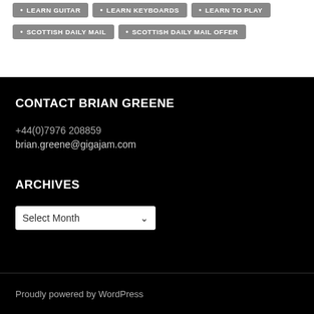LEARN GUITAR
LEARN KEYBOARDS
LEARN TO PLAY
SCOTTISH DAILY MAIL
SCOTTISH DAILY MAIL OFFER
CONTACT BRIAN GREENE
+44(0)7976 208859
brian.greene@gigajam.com
ARCHIVES
Select Month
Proudly powered by WordPress